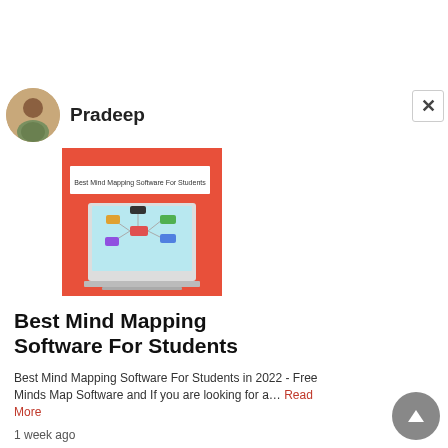Pradeep
[Figure (screenshot): Article thumbnail image showing a red banner with text 'Best Mind Mapping Software For Students' and a laptop/tablet displaying a mind map diagram with colorful nodes on a light blue background]
Best Mind Mapping Software For Students
Best Mind Mapping Software For Students in 2022 - Free Minds Map Software and If you are looking for a… Read More
1 week ago